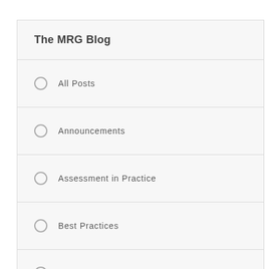The MRG Blog
All Posts
Announcements
Assessment in Practice
Best Practices
Inside Look
Momentum